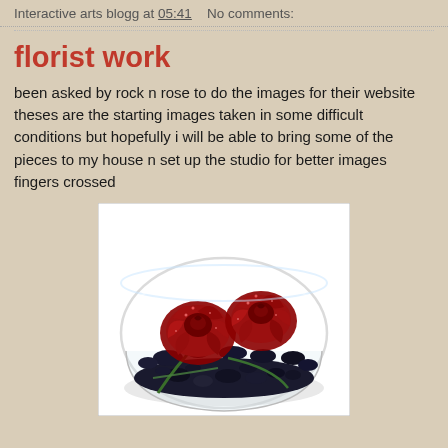Interactive arts blogg at 05:41    No comments:
florist work
been asked by rock n rose to do the images for their website theses are the starting images taken in some difficult conditions but hopefully i will be able to bring some of the pieces to my house n set up the studio for better images fingers crossed
[Figure (photo): A glass bowl containing two red glittery roses resting on dark stones/pebbles, with green stems, photographed against a white background.]